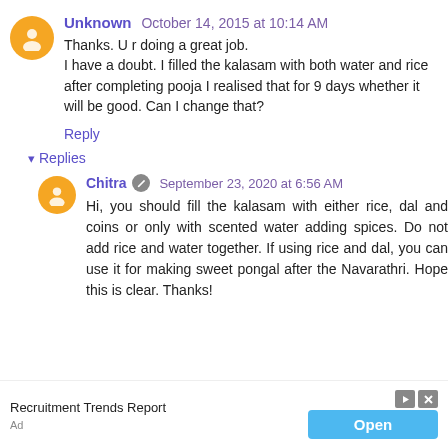Unknown October 14, 2015 at 10:14 AM
Thanks. U r doing a great job.
I have a doubt. I filled the kalasam with both water and rice after completing pooja I realised that for 9 days whether it will be good. Can I change that?
Reply
▼ Replies
Chitra  September 23, 2020 at 6:56 AM
Hi, you should fill the kalasam with either rice, dal and coins or only with scented water adding spices. Do not add rice and water together. If using rice and dal, you can use it for making sweet pongal after the Navarathri. Hope this is clear. Thanks!
Recruitment Trends Report
Open
Ad